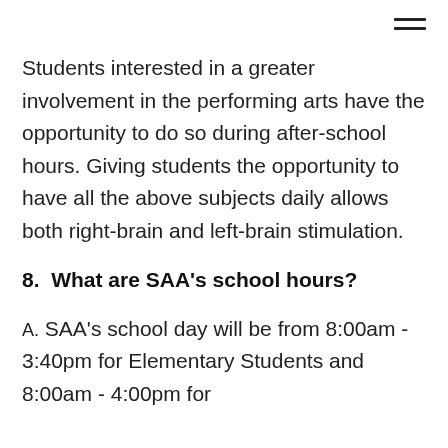Students interested in a greater involvement in the performing arts have the opportunity to do so during after-school hours. Giving students the opportunity to have all the above subjects daily allows both right-brain and left-brain stimulation.
8.  What are SAA's school hours?
A. SAA's school day will be from 8:00am - 3:40pm for Elementary Students and 8:00am - 4:00pm for